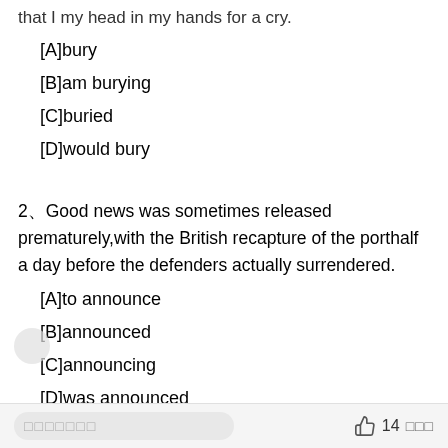that I my head in my hands for a cry.
[A]bury
[B]am burying
[C]buried
[D]would bury
2、Good news was sometimes released prematurely,with the British recapture of the porthalf a day before the defenders actually surrendered.
[A]to announce
[B]announced
[C]announcing
[D]was announced
14